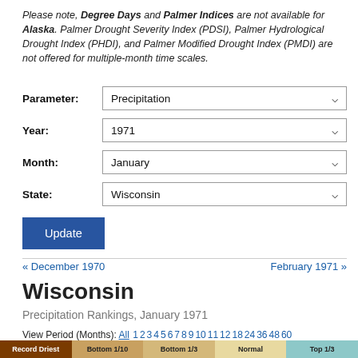Please note, Degree Days and Palmer Indices are not available for Alaska. Palmer Drought Severity Index (PDSI), Palmer Hydrological Drought Index (PHDI), and Palmer Modified Drought Index (PMDI) are not offered for multiple-month time scales.
Parameter: Precipitation
Year: 1971
Month: January
State: Wisconsin
Update
« December 1970   February 1971 »
Wisconsin
Precipitation Rankings, January 1971
View Period (Months): All 1 2 3 4 5 6 7 8 9 10 11 12 18 24 36 48 60
Download:
Record Driest   Bottom 1/10   Bottom 1/3   Normal   Top 1/3